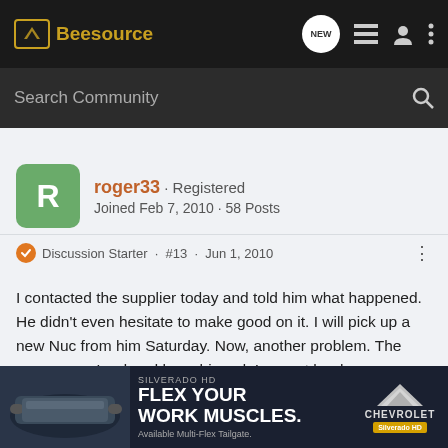Beesource
Search Community
roger33 · Registered
Joined Feb 7, 2010 · 58 Posts
Discussion Starter · #13 · Jun 1, 2010
I contacted the supplier today and told him what happened. He didn't even hesitate to make good on it. I will pick up a new Nuc from him Saturday. Now, another problem. The new queen I ordered has shipped. I expect her here Thursday or Friday. How do I handle this? Should I have my Supplier pinch the queen from the Nuc? Do I introduce the new queen to my hive the day I get it? Too many things going at the same time. I suppose...er method
[Figure (screenshot): Chevrolet Silverado HD truck advertisement overlay at bottom of page]